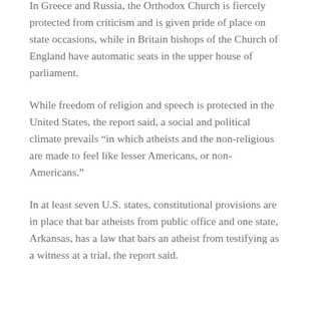In Greece and Russia, the Orthodox Church is fiercely protected from criticism and is given pride of place on state occasions, while in Britain bishops of the Church of England have automatic seats in the upper house of parliament.
While freedom of religion and speech is protected in the United States, the report said, a social and political climate prevails “in which atheists and the non-religious are made to feel like lesser Americans, or non-Americans.”
In at least seven U.S. states, constitutional provisions are in place that bar atheists from public office and one state, Arkansas, has a law that bars an atheist from testifying as a witness at a trial, the report said.